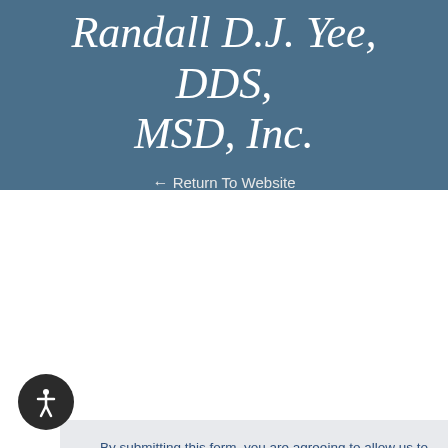Randall D.J. Yee, DDS, MSD, Inc.
← Return To Website
By submitting this form, you are agreeing to allow us to publish your survey on our website and social media channels.
Overall Rating:
[Figure (other): Five empty star rating icons in orange]
First Name and Last Initial:
First Name (input field placeholder)
Last Initial (input field placeholder, partially visible)